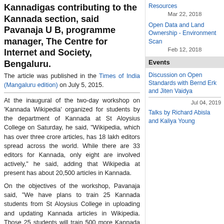Kannadigas contributing to the Kannada section, said Pavanaja U B, programme manager, The Centre for Internet and Society, Bengaluru.
The article was published in the Times of India (Mangaluru edition) on July 5, 2015.
At the inaugural of the two-day workshop on 'Kannada Wikipedia' organized for students by the department of Kannada at St Aloysius College on Saturday, he said, "Wikipedia, which has over three crore articles, has 18 lakh editors spread across the world. While there are 33 editors for Kannada, only eight are involved actively," he said, adding that Wikipedia at present has about 20,500 articles in Kannada.
On the objectives of the workshop, Pavanaja said, "We have plans to train 25 Kannada students from St Aloysius College in uploading and updating Kannada articles in Wikipedia. Those 25 students will train 500 more Kannada students in the college and thereby increase the number of articles uploaded to Kannada Wikipedia. It will be a part of their academic assignment."
Resources
Mar 22, 2018
Open Data and Land Ownership - Environment Scan
Feb 12, 2018
Events
Discussion on Open Standards with Bernd Erk and Jiten Vaidya
Jul 04, 2019
Talks by Richard Abisla and Kaliya Young